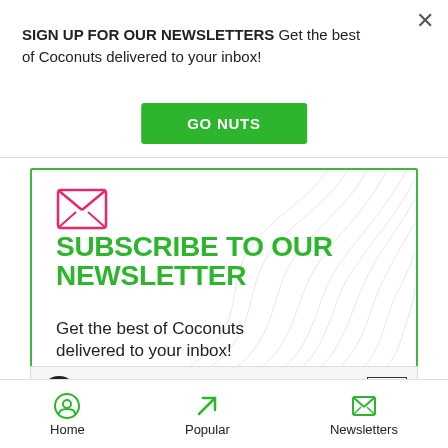SIGN UP FOR OUR NEWSLETTERS Get the best of Coconuts delivered to your inbox!
GO NUTS
[Figure (illustration): Newsletter subscription card with topographic line background, pink envelope icon, and green bold text reading SUBSCRIBE TO OUR NEWSLETTER, with body text Get the best of Coconuts delivered to your inbox!]
[Figure (infographic): Powerbeats Pro advertisement banner with logo and BUY NOW button]
Home   Popular   Newsletters